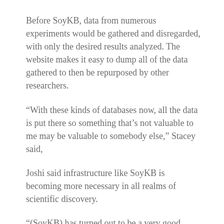Before SoyKB, data from numerous experiments would be gathered and disregarded, with only the desired results analyzed. The website makes it easy to dump all of the data gathered to then be repurposed by other researchers.
“With these kinds of databases now, all the data is put there so something that’s not valuable to me may be valuable to somebody else,” Stacey said,
Joshi said infrastructure like SoyKB is becoming more necessary in all realms of scientific discovery.
“(SoyKB) has turned out to be a very good public resource for the soybean community to cross reference that and check the details of their findings,” she said.
Computer science prevents researchers having to reinvent the wheel with their own digital platforms. SoyKB has a translational infrastructure with computational methods and tools that can be used for many disciplines like health sciences, animal sciences, physics and genetic research.